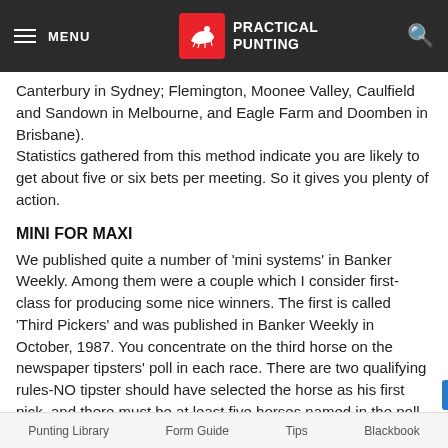MENU | PRACTICAL PUNTING
Canterbury in Sydney; Flemington, Moonee Valley, Caulfield and Sandown in Melbourne, and Eagle Farm and Doomben in Brisbane).
Statistics gathered from this method indicate you are likely to get about five or six bets per meeting. So it gives you plenty of action.
MINI FOR MAXI
We published quite a number of 'mini systems' in Banker Weekly. Among them were a couple which I consider first-class for producing some nice winners. The first is called 'Third Pickers' and was published in Banker Weekly in October, 1987. You concentrate on the third horse on the newspaper tipsters' poll in each race. There are two qualifying rules-NO tipster should have selected the horse as his first pick, and there must be at least five horses named in the poll for any race.
So what you do is find the third poll choice, make sure it hasn't
Punting Library    Form Guide    Tips    Blackbook